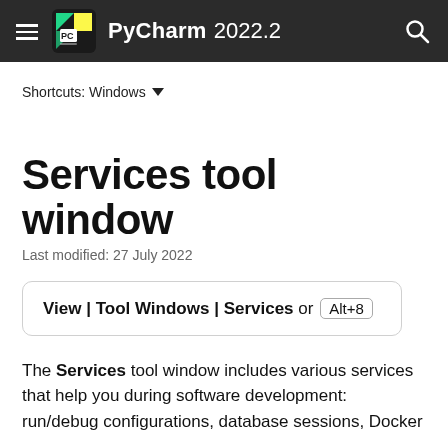PyCharm 2022.2
Shortcuts: Windows
Services tool window
Last modified: 27 July 2022
View | Tool Windows | Services or Alt+8
The Services tool window includes various services that help you during software development: run/debug configurations, database sessions, Docker